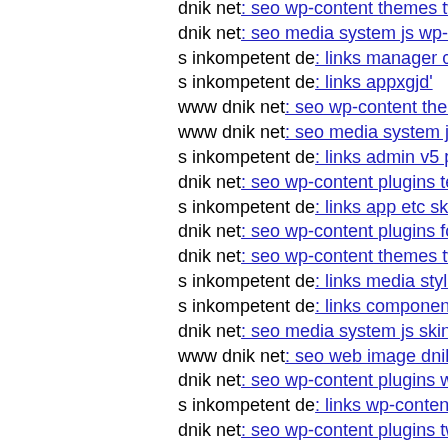dnik net: seo wp-content themes twentyeleven obendum p
dnik net: seo media system js wp-content themes coffeebr
s inkompetent de: links manager components com foxcont
s inkompetent de: links appxgjd'
www dnik net: seo wp-content themes twentyfourteen mag
www dnik net: seo media system js cfg-contactform-16 in
s inkompetent de: links admin v5 php
dnik net: seo wp-content plugins tevolution tmplconnector
s inkompetent de: links app etc skin skin wp-content plugi
dnik net: seo wp-content plugins formcraft file-upload serv
dnik net: seo wp-content themes twentyfourteen magmi we
s inkompetent de: links media style php
s inkompetent de: links components com jbcatalog librarie
dnik net: seo media system js skin administrator wp-conter
www dnik net: seo web image dnik net wp-content plugins
dnik net: seo wp-content plugins wp-file-manager-pro lib p
s inkompetent de: links wp-content plugins formcraft file-u
dnik net: seo wp-content plugins twentyfourteen wp-conte
s inkompetent de: links wp-content api downloader compo
mail inkompetent de: links administrator components com
dnik net: seo media system js magmifdr